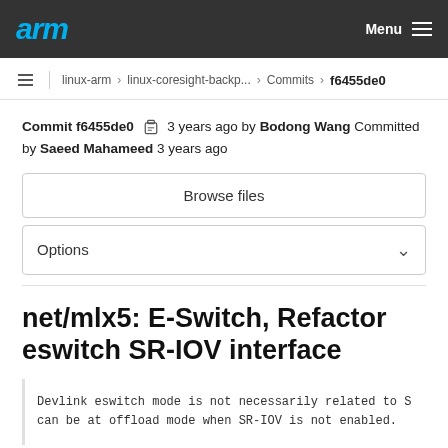arm  Menu
linux-arm › linux-coresight-backp... › Commits › f6455de0
Commit f6455de0  3 years ago by Bodong Wang Committed by Saeed Mahameed 3 years ago
Browse files
Options
net/mlx5: E-Switch, Refactor eswitch SR-IOV interface
Devlink eswitch mode is not necessarily related to S
can be at offload mode when SR-IOV is not enabled.